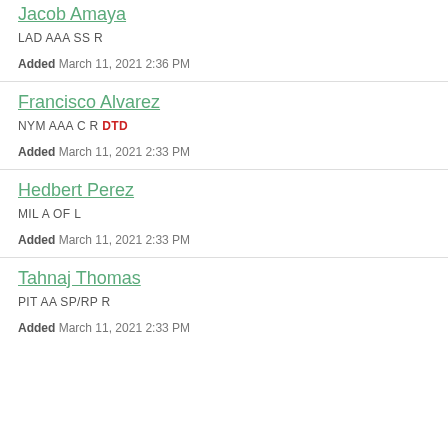Jacob Amaya
LAD AAA SS R
Added March 11, 2021 2:36 PM
Francisco Alvarez
NYM AAA C R DTD
Added March 11, 2021 2:33 PM
Hedbert Perez
MIL A OF L
Added March 11, 2021 2:33 PM
Tahnaj Thomas
PIT AA SP/RP R
Added March 11, 2021 2:33 PM